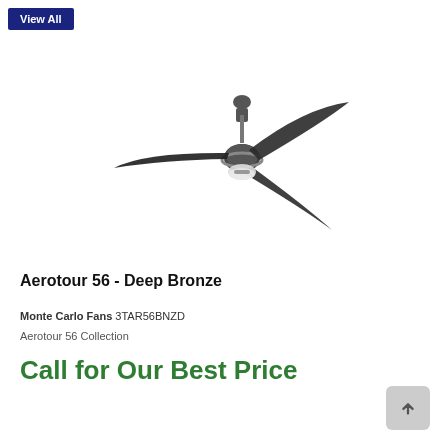View All
[Figure (photo): Aerotour 56 ceiling fan in Deep Bronze finish with three dark blades and a light kit, viewed from slightly below]
Aerotour 56 - Deep Bronze
Monte Carlo Fans 3TAR56BNZD
Aerotour 56 Collection
Call for Our Best Price